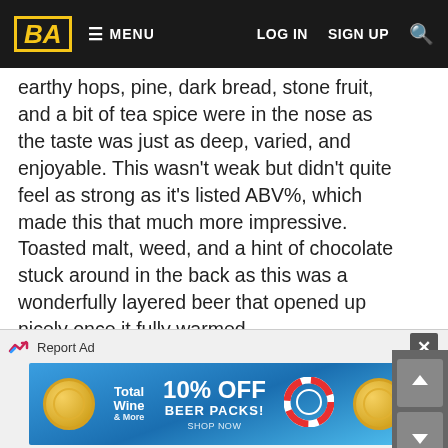BA  ≡ MENU   LOG IN   SIGN UP   🔍
earthy hops, pine, dark bread, stone fruit, and a bit of tea spice were in the nose as the taste was just as deep, varied, and enjoyable. This wasn't weak but didn't quite feel as strong as it's listed ABV%, which made this that much more impressive. Toasted malt, weed, and a hint of chocolate stuck around in the back as this was a wonderfully layered beer that opened up nicely once it fully warmed.
This was strong but in the sense that there was so much flavor here as the alcohol was on par with everything else going on. Packaged on 3/21, this held up amazingly well and would be something that I'd easily reach for again. Really impressed with this as I'm glad that this is available here as I can't recommend this enough. It's easily worth it's lofty rating on here as this was an old-school brew that's easily withstood the test of time!
[Figure (screenshot): Advertisement banner for Total Wine showing '10% OFF BEER PACKS!' with pool/summer theme]